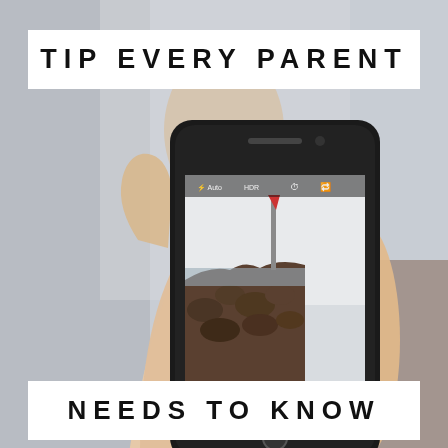TIP EVERY PARENT
[Figure (photo): A hand holding a smartphone displaying a camera app. The phone screen shows a coastal scene with a rocky jetty and a red marker/pole in the distance. The background of the full photo is a blurred outdoor setting.]
NEEDS TO KNOW